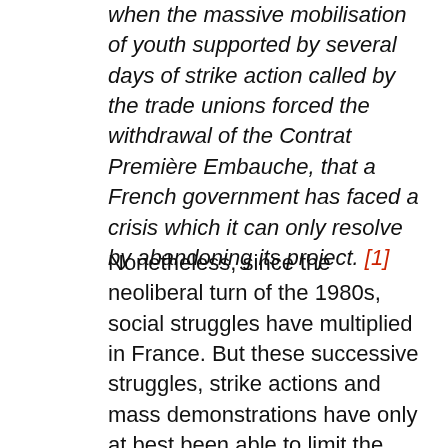when the massive mobilisation of youth supported by several days of strike action called by the trade unions forced the withdrawal of the Contrat Première Embauche, that a French government has faced a crisis which it can only resolve by abandoning its project. [1]
Nonetheless, since the neoliberal turn of the 1980s, social struggles have multiplied in France. But these successive struggles, strike actions and mass demonstrations have only at best been able to limit the breadth of the destruction of the social conquests of the previous period and have not provented a long series of defeats and